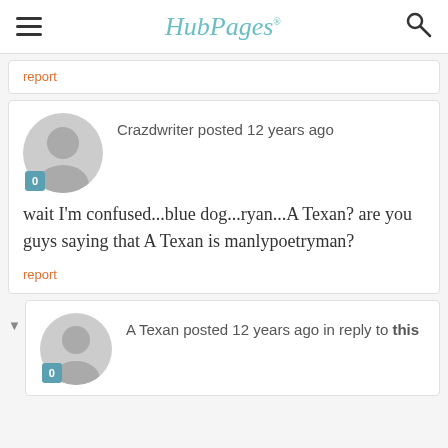HubPages
report
Crazdwriter posted 12 years ago
wait I'm confused...blue dog...ryan...A Texan? are you guys saying that A Texan is manlypoetryman?
report
A Texan posted 12 years ago in reply to this